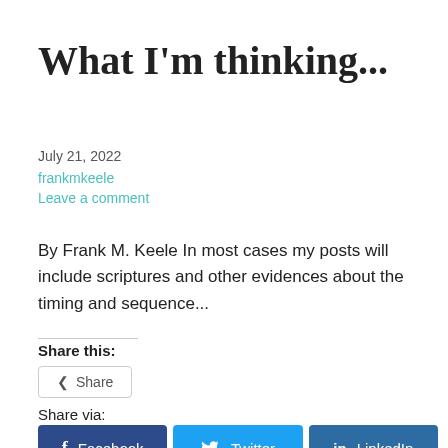What I'm thinking...
July 21, 2022
frankmkeele
Leave a comment
By Frank M. Keele In most cases my posts will include scriptures and other evidences about the timing and sequence...
Share this:
Share
Share via:
Facebook
Twitter
LinkedIn